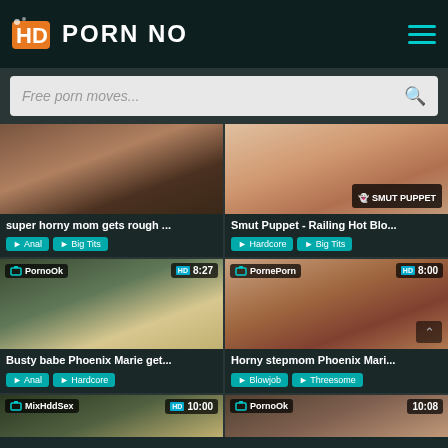HD PORN NO
Free porn moves...
[Figure (screenshot): Thumbnail for 'super horny mom gets rough ...']
super horny mom gets rough ...
Anal  Big Tits
[Figure (screenshot): Thumbnail for 'Smut Puppet - Railing Hot Blo...' with Smut Puppet watermark]
Smut Puppet - Railing Hot Blo...
Hardcore  Big Tits
[Figure (screenshot): Thumbnail for 'Busty babe Phoenix Marie get...' - PornoOk, HD, 8:27]
Busty babe Phoenix Marie get...
Anal  Hardcore
[Figure (screenshot): Thumbnail for 'Horny stepmom Phoenix Mari...' - PornePorn, HD, 8:00]
Horny stepmom Phoenix Mari...
Blowjob  Threesome
[Figure (screenshot): Thumbnail - MixHddSex, HD, 10:00]
[Figure (screenshot): Thumbnail - PornoOk, 10:08]